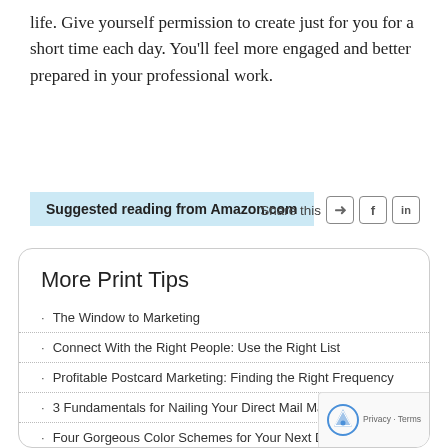life. Give yourself permission to create just for you for a short time each day. You'll feel more engaged and better prepared in your professional work.
Suggested reading from Amazon.com
Share this
More Print Tips
The Window to Marketing
Connect With the Right People: Use the Right List
Profitable Postcard Marketing: Finding the Right Frequency
3 Fundamentals for Nailing Your Direct Mail Marketing
Four Gorgeous Color Schemes for Your Next Design
6 Rock-Solid Strategies to Improve Your Next Direct Mail Camp...
Key Elements to Consider When Seeking an Excellent Print Pa...